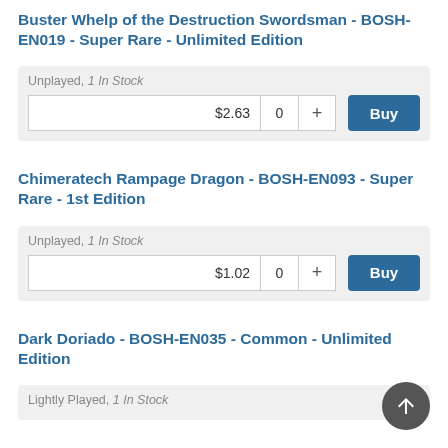Buster Whelp of the Destruction Swordsman - BOSH-EN019 - Super Rare - Unlimited Edition
Unplayed, 1 In Stock
$2.63   0   +   Buy
Chimeratech Rampage Dragon - BOSH-EN093 - Super Rare - 1st Edition
Unplayed, 1 In Stock
$1.02   0   +   Buy
Dark Doriado - BOSH-EN035 - Common - Unlimited Edition
Lightly Played, 1 In Stock